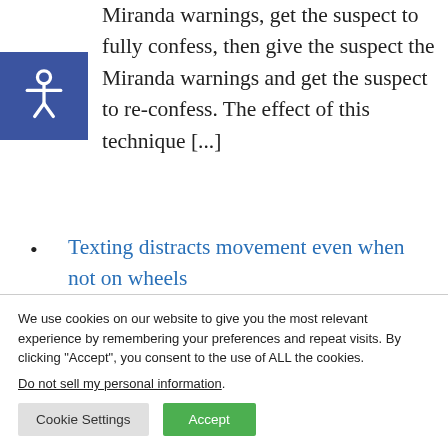Miranda warnings, get the suspect to fully confess, then give the suspect the Miranda warnings and get the suspect to re-confess. The effect of this technique [...]
Texting distracts movement even when not on wheels
Distracted driving isn't the only transportation danger posed by texting, as distracted walking can result in harm as
We use cookies on our website to give you the most relevant experience by remembering your preferences and repeat visits. By clicking “Accept”, you consent to the use of ALL the cookies.
Do not sell my personal information.